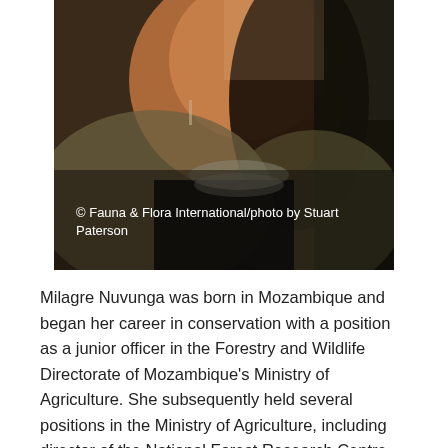[Figure (photo): Close-up photograph of Milagre Nuvunga, a woman wearing a dark jacket over a black top with a multi-strand beaded necklace and earrings. Photo credit: © Fauna & Flora International/photo by Stuart Paterson.]
© Fauna & Flora International/photo by Stuart Paterson
Milagre Nuvunga was born in Mozambique and began her career in conservation with a position as a junior officer in the Forestry and Wildlife Directorate of Mozambique's Ministry of Agriculture. She subsequently held several positions in the Ministry of Agriculture, including director of the National Forest Research Centre and national director of Forestry and Wildlife